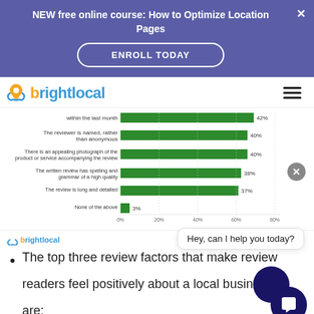NEW free online course: How to Optimize Location Pages
[Figure (logo): BrightLocal logo with location pin icon]
[Figure (bar-chart): Review factors that make readers feel positively about a local business]
[Figure (logo): BrightLocal small logo]
The top three review factors that make review readers feel positively about a local business are: